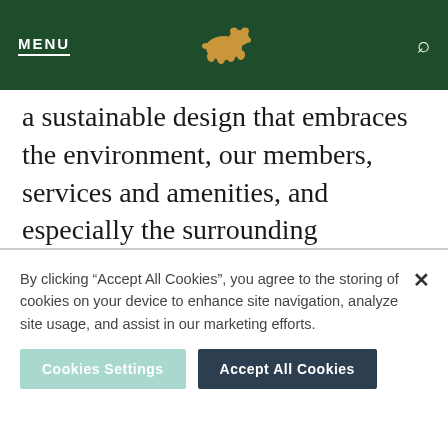MENU [bear logo] [search icon]
a sustainable design that embraces the environment, our members, services and amenities, and especially the surrounding community. Legacy Point will be about great golf and a whole lot
By clicking “Accept All Cookies”, you agree to the storing of cookies on your device to enhance site navigation, analyze site usage, and assist in our marketing efforts.
Cookies Settings   Accept All Cookies